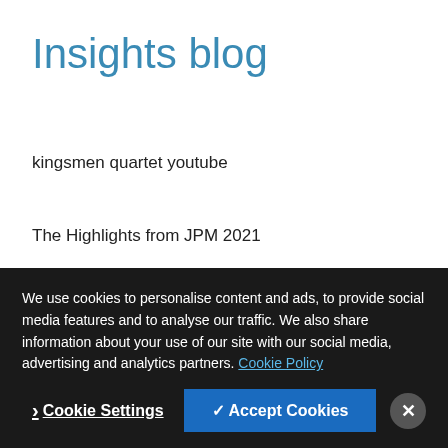Insights blog
kingsmen quartet youtube
The Highlights from JPM 2021
Top Healthcare Marketing News of 2020
An Update on HCP Engagement during COVID-19
We use cookies to personalise content and ads, to provide social media features and to analyse our traffic. We also share information about your use of our site with our social media, advertising and analytics partners. Cookie Policy
Cookie Settings
✓ Accept Cookies